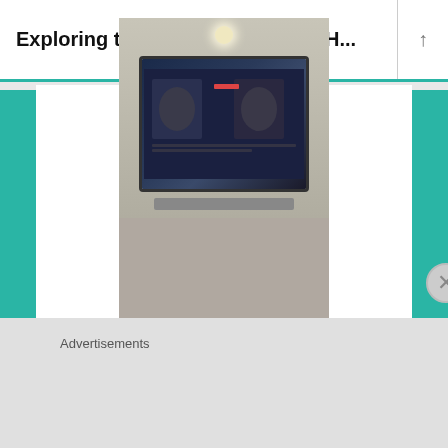Exploring the Newseum and the H...
[Figure (photo): A boy in a teal t-shirt holding a microphone standing in front of a large mounted TV screen showing news broadcast imagery, inside what appears to be the Newseum museum]
Advertisements